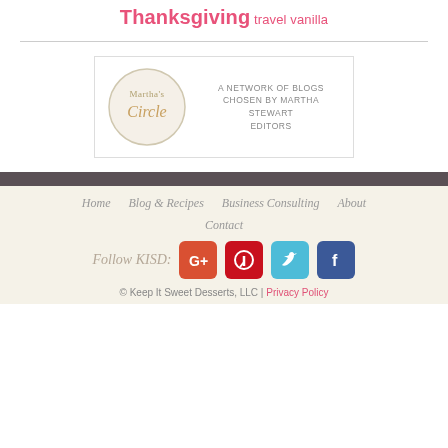Thanksgiving travel vanilla
[Figure (logo): Martha's Circle logo — a circular badge with 'Martha's Circle' text, tagline: A NETWORK OF BLOGS CHOSEN BY MARTHA STEWART EDITORS]
Home  Blog & Recipes  Business Consulting  About  Contact
Follow KISD:
© Keep It Sweet Desserts, LLC | Privacy Policy